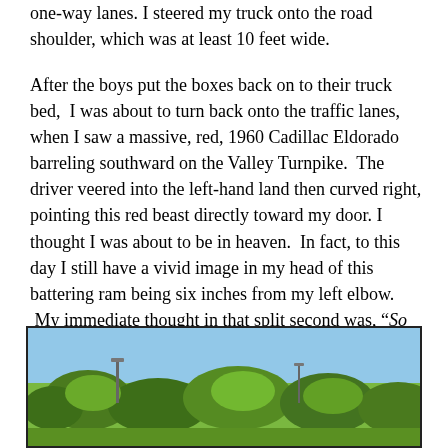one-way lanes. I steered my truck onto the road shoulder, which was at least 10 feet wide.
After the boys put the boxes back on to their truck bed, I was about to turn back onto the traffic lanes, when I saw a massive, red, 1960 Cadillac Eldorado barreling southward on the Valley Turnpike. The driver veered into the left-hand land then curved right, pointing this red beast directly toward my door. I thought I was about to be in heaven. In fact, to this day I still have a vivid image in my head of this battering ram being six inches from my left elbow. My immediate thought in that split second was, “So this is what it is like to die.”
[Figure (photo): Outdoor photograph showing a road or open area with trees and vegetation in the foreground and a light blue sky in the background.]